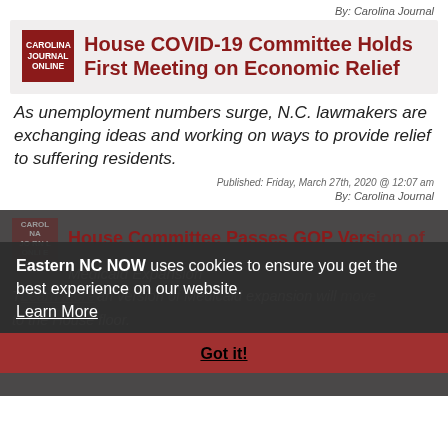By: Carolina Journal
House COVID-19 Committee Holds First Meeting on Economic Relief
As unemployment numbers surge, N.C. lawmakers are exchanging ideas and working on ways to provide relief to suffering residents.
Published: Friday, March 27th, 2020 @ 12:07 am
By: Carolina Journal
House Committee Passes GOP Version of Medicaid Expansion
The Republican version of Medicaid expansion will move to the House floor.
Eastern NC NOW uses cookies to ensure you get the best experience on our website. Learn More
Got it!
Published: Friday, September 20th, 2019 @ 2:05 pm
By: Carolina Journal